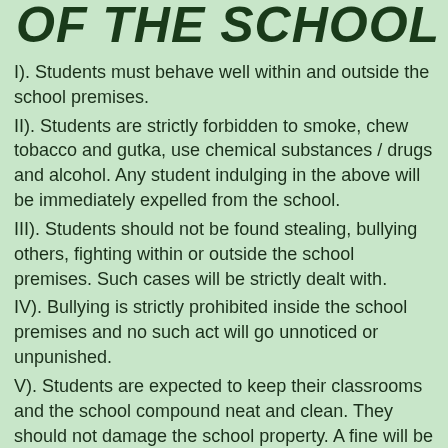OF THE SCHOOL
I). Students must behave well within and outside the school premises.
II). Students are strictly forbidden to smoke, chew tobacco and gutka, use chemical substances / drugs and alcohol. Any student indulging in the above will be immediately expelled from the school.
III). Students should not be found stealing, bullying others, fighting within or outside the school premises. Such cases will be strictly dealt with.
IV). Bullying is strictly prohibited inside the school premises and no such act will go unnoticed or unpunished.
V). Students are expected to keep their classrooms and the school compound neat and clean. They should not damage the school property. A fine will be imposed in such cases. Writing and scribbling on the desks and walls of the school is strictly prohibited.
VI). Mobile phones and other expensive electronic goods are completely banned in the school compound. If found carrying such items it will be confiscated and will not be returned.
VII). Homework must be done regularly, failing to do so, the student